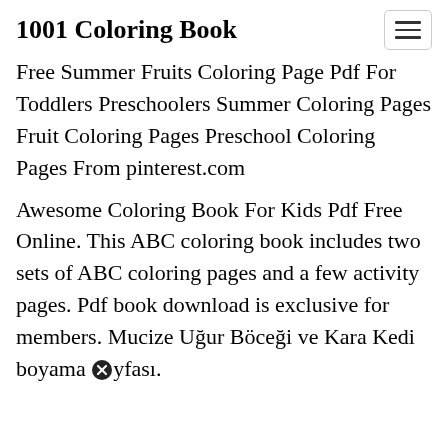1001 Coloring Book
Free Summer Fruits Coloring Page Pdf For Toddlers Preschoolers Summer Coloring Pages Fruit Coloring Pages Preschool Coloring Pages From pinterest.com
Awesome Coloring Book For Kids Pdf Free Online. This ABC coloring book includes two sets of ABC coloring pages and a few activity pages. Pdf book download is exclusive for members. Mucize Uğur Böceği ve Kara Kedi boyama sayfası.